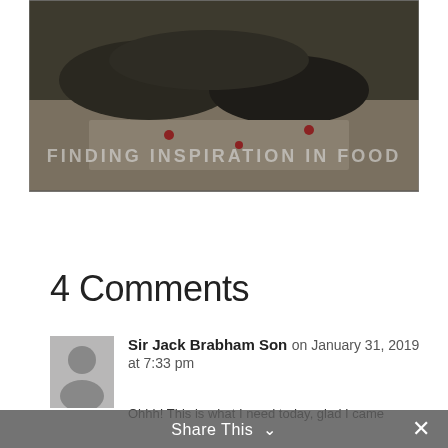[Figure (photo): Close-up photo of a food dish with meat and rice/grains, overlaid with watermark text 'FINDING INSPIRATION IN FOOD']
4 Comments
Sir Jack Brabham Son on January 31, 2019 at 7:33 pm
Ohhh! This is what I need today, glad I came
Share This ∨  ✕